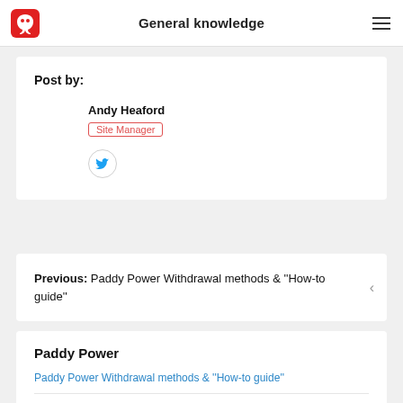General knowledge
Post by:
Andy Heaford
Site Manager
Previous: Paddy Power Withdrawal methods & ''How-to guide''
Paddy Power
Paddy Power Withdrawal methods & ''How-to guide''